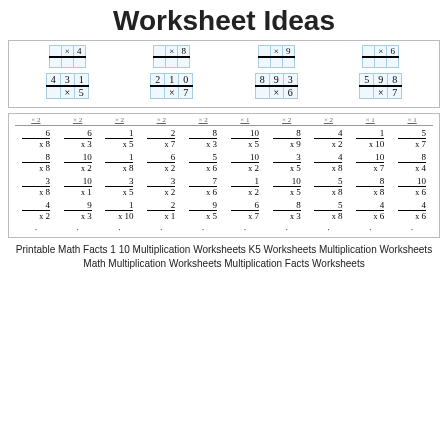Worksheet Ideas
[Figure (illustration): Two rows of multiplication worksheet problems. Top row: short two-column grids with x4, x8, x9, x6. Bottom row: multi-digit multiplication boxes: 431x5, 210x7, 893x6, 598x7.]
[Figure (illustration): Multiplication facts worksheet with header row and four rows of single-digit multiplication problems in grid format. Problems include: 6x8, 6x3, 1x5, 2x7, 8x3, 10x5, 8x9, 4x2, 1x10, 5x7, then 8x8, 10x2, 1x8, 6x2, 5x6, 10x2, 3x5, 4x8, 10x7, 8x4, then 3x8, 10x1, 3x5, 3x2, 7x6, 1x2, 10x5, 5x8, 8x8, 10x6, then 4x2, 9x3, 1x10, 2x1, 9x5, 6x7, 8x3, 5x8, 4x6, 4x6. Dots row at bottom.]
Printable Math Facts 1 10 Multiplication Worksheets K5 Worksheets Multiplication Worksheets Math Multiplication Worksheets Multiplication Facts Worksheets